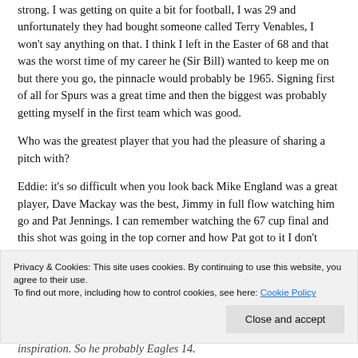strong. I was getting on quite a bit for football, I was 29 and unfortunately they had bought someone called Terry Venables, I won't say anything on that. I think I left in the Easter of 68 and that was the worst time of my career he (Sir Bill) wanted to keep me on but there you go, the pinnacle would probably be 1965. Signing first of all for Spurs was a great time and then the biggest was probably getting myself in the first team which was good.
Who was the greatest player that you had the pleasure of sharing a pitch with?
Eddie: it's so difficult when you look back Mike England was a great player, Dave Mackay was the best, Jimmy in full flow watching him go and Pat Jennings. I can remember watching the 67 cup final and this shot was going in the top corner and how Pat got to it I don't
Privacy & Cookies: This site uses cookies. By continuing to use this website, you agree to their use. To find out more, including how to control cookies, see here: Cookie Policy
Close and accept
inspiration. So he probably Eagles 14.